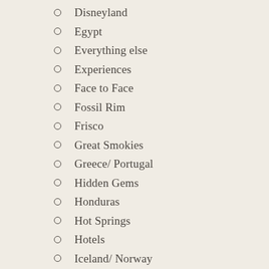Disneyland
Egypt
Everything else
Experiences
Face to Face
Fossil Rim
Frisco
Great Smokies
Greece/ Portugal
Hidden Gems
Honduras
Hot Springs
Hotels
Iceland/ Norway